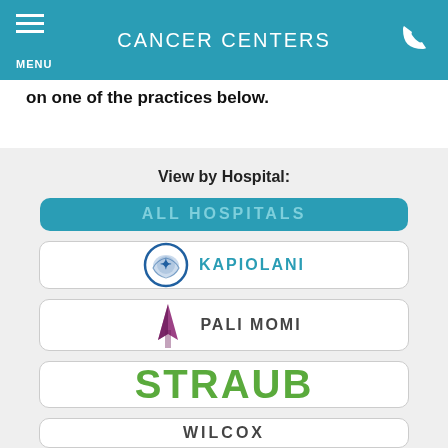CANCER CENTERS
on one of the practices below.
View by Hospital:
ALL HOSPITALS
KAPIOLANI
PALI MOMI
STRAUB
WILCOX